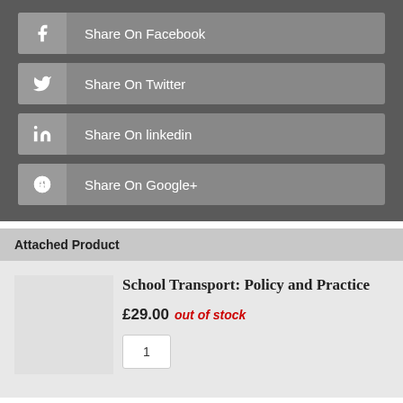Share On Facebook
Share On Twitter
Share On linkedin
Share On Google+
Attached Product
School Transport: Policy and Practice
£29.00 out of stock
1
Contact us